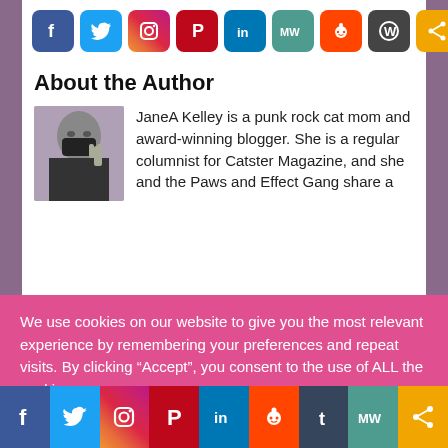[Figure (infographic): Row of social media sharing icons: Facebook, Twitter, Instagram, Pinterest, LinkedIn, MeWe, Reddit, WordPress, Share]
About the Author
[Figure (photo): Author photo of JaneA Kelley wearing a black mask, holding up a peace sign]
JaneA Kelley is a punk rock cat mom and award-winning blogger. She is a regular columnist for Catster Magazine, and she and the Paws and Effect Gang share a
We use cookies on our website to give you the most relevant experience by remembering your preferences and repeat visits. By clicking “Accept”, you consent to the use of ALL the cookies.
Cookie settings   ACCEPT
[Figure (infographic): Bottom social media bar with icons: Facebook, Twitter, Instagram, Pinterest, LinkedIn, Reddit, Tumblr, MeWe, Share]